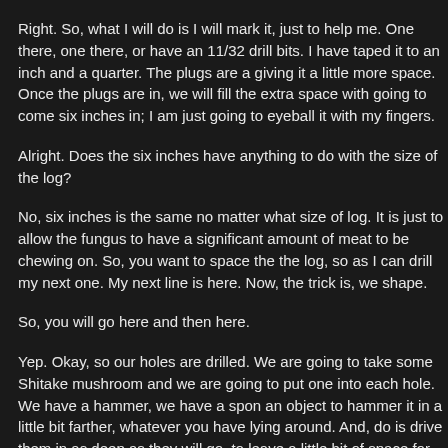Right. So, what I will do is I will mark it, just to help me. One there, one there, or have an 11/32 drill bits. I have taped it to an inch and a quarter. The plugs are a giving it a little more space. Once the plugs are in, we will fill the extra space with going to come six inches in; I am just going to eyeball it with my fingers.
Alright. Does the six inches have anything to do with the size of the log?
No, six inches is the same no matter what size of log. It is just to allow the fungus to have a significant amount of meat to be chewing on. So, you want to space the the log, so as I can drill my next one. My next line is here. Now, the trick is, we shape.
So, you will go here and then here.
Yep. Okay, so our holes are drilled. We are going to take some Shitake mushroom and we are going to put one into each hole. We have a hammer, we have a spon an object to hammer it in a little bit farther, whatever you have lying around. And, do is drive them in as deep as they will go, to leave a little bit of space for the bees
So, we are going to seal these in with beeswax?
That is right. We have inoculated our log, our plugs are in place. And, now, w beeswax. I picked this up from a local farmer. Basically, we use that just to herm the log, to keep competition from other fungus out and to give the spores a chanc